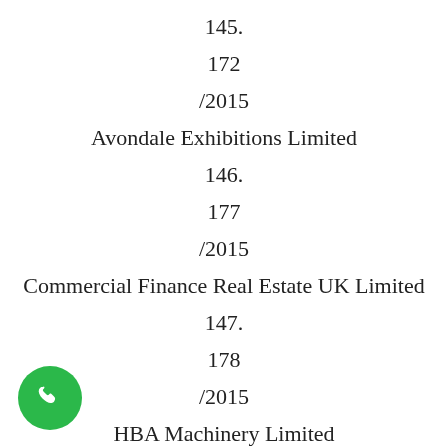145.
172
/2015
Avondale Exhibitions Limited
146.
177
/2015
Commercial Finance Real Estate UK Limited
147.
178
/2015
HBA Machinery Limited